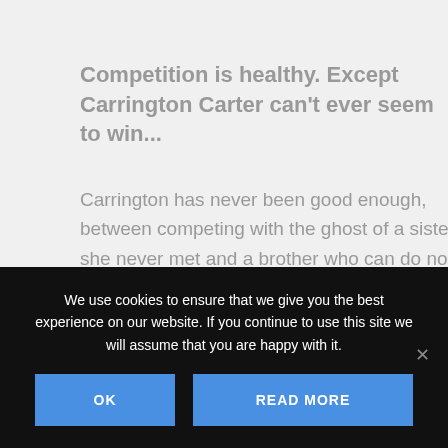Competition is healthy. Except Carrington Carter can't ever seem to win...
Carrington has never been good enough, between competing with the ghost of a sister she never met and a brother who can do no wrong in their parents' eyes. She's convinced finishing nursing school will finally make her parents proud, until she finds out she didn't pass her boards. Now
We use cookies to ensure that we give you the best experience on our website. If you continue to use this site we will assume that you are happy with it.